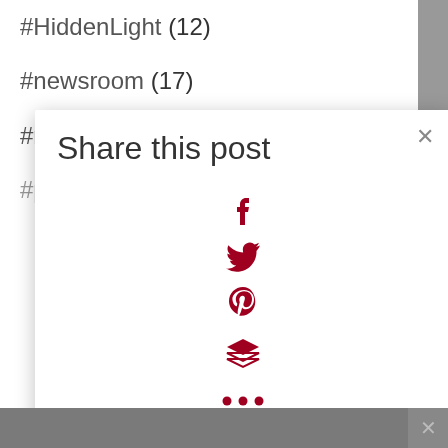#HiddenLight (12)
#newsroom (17)
#noticed (39)
#pratins (10)
[Figure (screenshot): Share this post modal dialog with social media icons: Facebook (f), Twitter (bird), Pinterest (P), Buffer (layers), and more (...) icons in dark red/crimson color, with a close (x) button in top right corner]